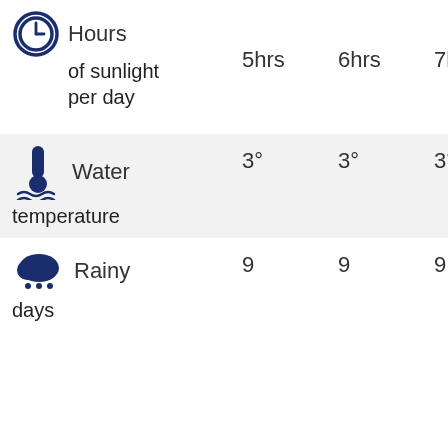|  | 5hrs | 6hrs | 7hrs | 8hrs | 8+ |
| --- | --- | --- | --- | --- | --- |
| Hours of sunlight per day |  |  |  |  |  |
| Water temperature | 3° | 3° | 3° | 9° | 1 |
| Rainy days | 9 | 9 | 9 | 9 | 9 |